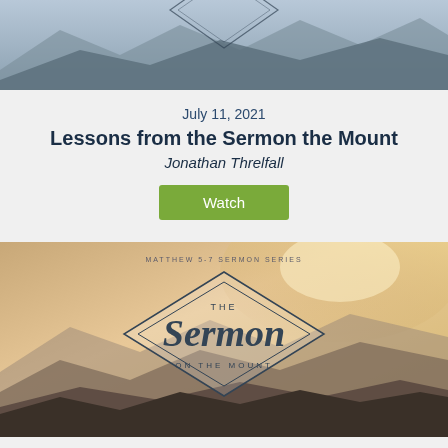[Figure (photo): Top portion of a mountain landscape with a diamond logo for 'The Sermon on the Mount' sermon series (cropped, only top showing)]
July 11, 2021
Lessons from the Sermon the Mount
Jonathan Threlfall
Watch
[Figure (photo): Mountain landscape artwork with diamond shape logo reading 'the Sermon on the Mount' and text 'MATTHEW 5-7 SERMON SERIES' above. Warm golden-hour sky colors.]
July 4, 2021
He Came Down from the Mountain